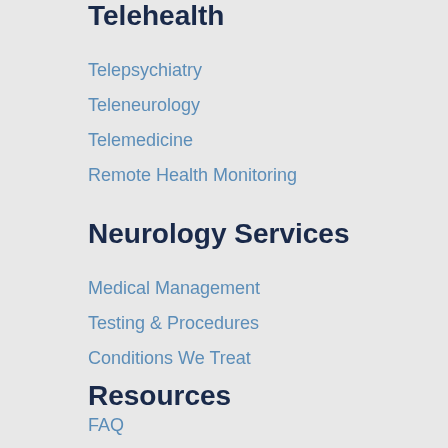Telehealth
Telepsychiatry
Teleneurology
Telemedicine
Remote Health Monitoring
Neurology Services
Medical Management
Testing & Procedures
Conditions We Treat
Resources
FAQ
News & Events
Join Our Team